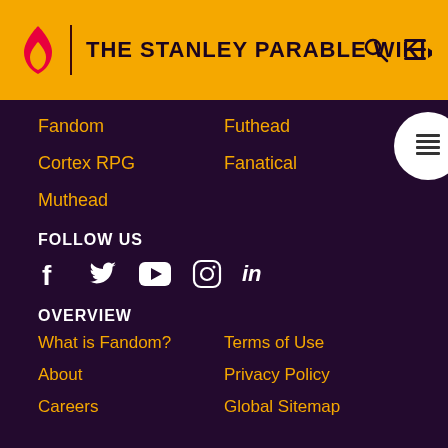THE STANLEY PARABLE WIKI
Fandom
Futhead
Cortex RPG
Fanatical
Muthead
FOLLOW US
[Figure (infographic): Social media icons: Facebook, Twitter, YouTube, Instagram, LinkedIn]
OVERVIEW
What is Fandom?
Terms of Use
About
Privacy Policy
Careers
Global Sitemap